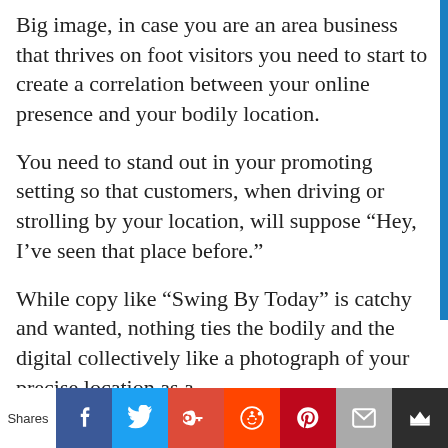Big image, in case you are an area business that thrives on foot visitors you need to start to create a correlation between your online presence and your bodily location.
You need to stand out in your promoting setting so that customers, when driving or strolling by your location, will suppose “Hey, I’ve seen that place before.”
While copy like “Swing By Today” is catchy and wanted, nothing ties the bodily and the digital collectively like a photograph of your precise location as a
Shares [Facebook] [Twitter] [Google+] [Reddit] [Pinterest] [Email] [Crown]